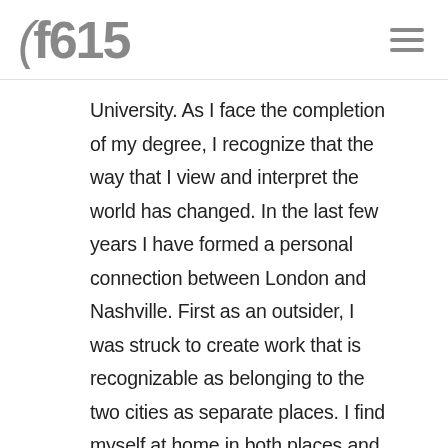CF615
University. As I face the completion of my degree, I recognize that the way that I view and interpret the world has changed. In the last few years I have formed a personal connection between London and Nashville. First as an outsider, I was struck to create work that is recognizable as belonging to the two cities as separate places. I find myself at home in both places and in so find similarities that speak to